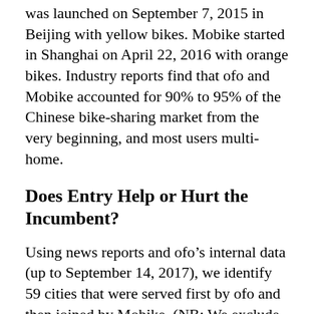was launched on September 7, 2015 in Beijing with yellow bikes. Mobike started in Shanghai on April 22, 2016 with orange bikes. Industry reports find that ofo and Mobike accounted for 90% to 95% of the Chinese bike-sharing market from the very beginning, and most users multi-home.
Does Entry Help or Hurt the Incumbent?
Using news reports and ofo’s internal data (up to September 14, 2017), we identify 59 cities that were served first by ofo and then joined by Mobike. (NB: We exclude Beijing from the study sample because ofo did many experiments in Beijing before expanding to